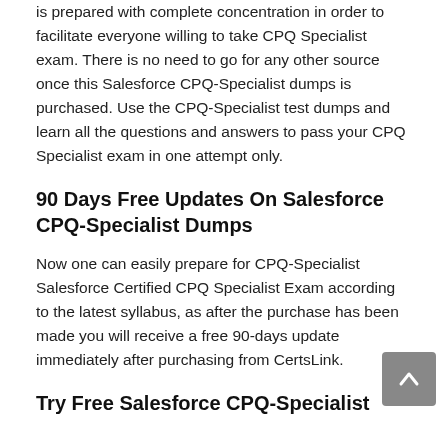is prepared with complete concentration in order to facilitate everyone willing to take CPQ Specialist exam. There is no need to go for any other source once this Salesforce CPQ-Specialist dumps is purchased. Use the CPQ-Specialist test dumps and learn all the questions and answers to pass your CPQ Specialist exam in one attempt only.
90 Days Free Updates On Salesforce CPQ-Specialist Dumps
Now one can easily prepare for CPQ-Specialist Salesforce Certified CPQ Specialist Exam according to the latest syllabus, as after the purchase has been made you will receive a free 90-days update immediately after purchasing from CertsLink.
Try Free Salesforce CPQ-Specialist